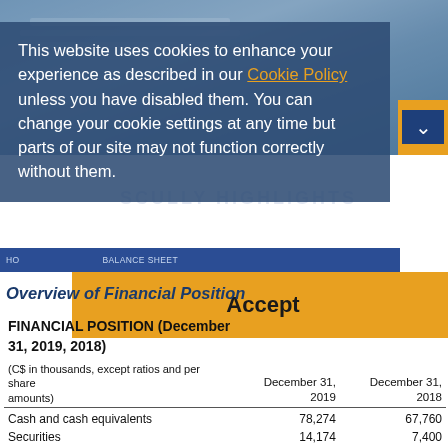[Figure (photo): Blue-tinted office/finance background photo with keyboard and calculator]
This website uses cookies to enhance your experience as described in our Cookie Policy unless you have disabled them. You can change your cookie settings at any time but parts of our site may not function correctly without them.
Accept
Overview of Financial Position
FINANCIAL POSITION (December 31, 2019, 2018)
| (C$ in thousands, except ratios and per share amounts) | December 31, 2019 | December 31, 2018 |
| --- | --- | --- |
| Cash and cash equivalents | 78,274 | 67,760 |
| Securities | 14,174 | 7,400 |
| Trade receivables | 4,158 | 5,343 |